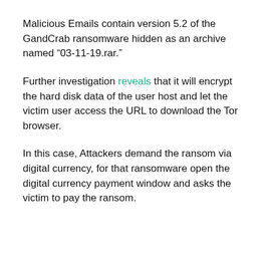Malicious Emails contain version 5.2 of the GandCrab ransomware hidden as an archive named “03-11-19.rar.”
Further investigation reveals that it will encrypt the hard disk data of the user host and let the victim user access the URL to download the Tor browser.
In this case, Attackers demand the ransom via digital currency, for that ransomware open the digital currency payment window and asks the victim to pay the ransom.